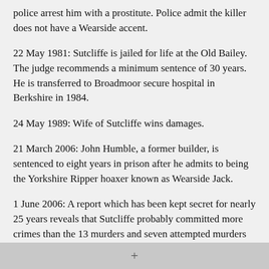police arrest him with a prostitute. Police admit the killer does not have a Wearside accent.
22 May 1981: Sutcliffe is jailed for life at the Old Bailey. The judge recommends a minimum sentence of 30 years. He is transferred to Broadmoor secure hospital in Berkshire in 1984.
24 May 1989: Wife of Sutcliffe wins damages.
21 March 2006: John Humble, a former builder, is sentenced to eight years in prison after he admits to being the Yorkshire Ripper hoaxer known as Wearside Jack.
1 June 2006: A report which has been kept secret for nearly 25 years reveals that Sutcliffe probably committed more crimes than the 13 murders and seven attempted murders for which he was convicted.
April 2017: Sutcliffe is questioned by police officers over 17 unsolved cases that bear similarities to his past crimes. He is not being investigated over any murders and it is unknown which of the
+